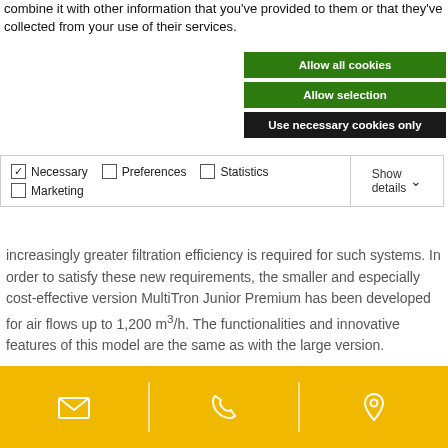combine it with other information that you've provided to them or that they've collected from your use of their services.
Allow all cookies
Allow selection
Use necessary cookies only
Necessary  Preferences  Statistics  Marketing  Show details
increasingly greater filtration efficiency is required for such systems. In order to satisfy these new requirements, the smaller and especially cost-effective version MultiTron Junior Premium has been developed for air flows up to 1,200 m³/h. The functionalities and innovative features of this model are the same as with the large version.
[Figure (infographic): Yellow footer bar with three icons: envelope (email), telephone, and location pin, separated by vertical white dividers.]